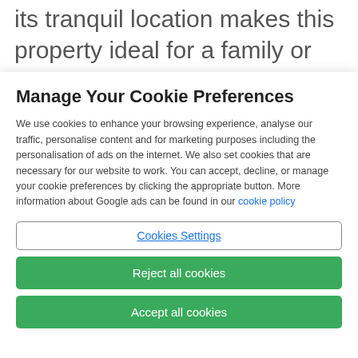its tranquil location makes this property ideal for a family or group wanting to escape the hustle and bustle
Manage Your Cookie Preferences
We use cookies to enhance your browsing experience, analyse our traffic, personalise content and for marketing purposes including the personalisation of ads on the internet. We also set cookies that are necessary for our website to work. You can accept, decline, or manage your cookie preferences by clicking the appropriate button. More information about Google ads can be found in our cookie policy
Cookies Settings
Reject all cookies
Accept all cookies